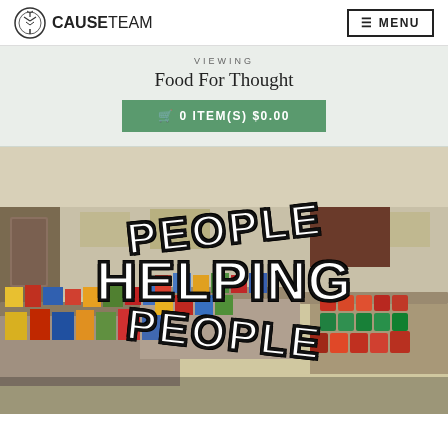CAUSETEAM — ☰ MENU
VIEWING
Food For Thought
🛒 0 ITEM(S) $0.00
[Figure (photo): Indoor food bank scene showing long tables covered with canned goods, boxed foods, and packaged items arranged in rows in a gymnasium or community hall. White text with black outline overlay reads 'PEOPLE HELPING PEOPLE' in large bold letters arranged in an arc.]